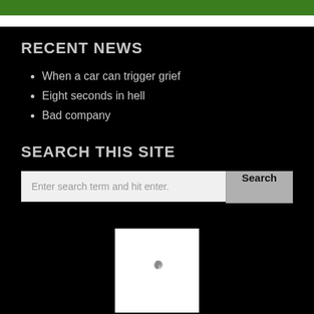RECENT NEWS
When a car can trigger grief
Eight seconds in hell
Bad company
SEARCH THIS SITE
Enter search term and hit enter.
[Figure (other): Loading spinner icon — white box with a circular grey spinner animation]